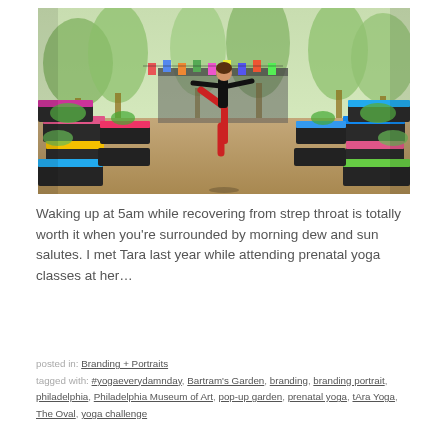[Figure (photo): A woman in red pants and black top performing a yoga warrior pose outdoors in a garden setting with colorful yoga mats placed on rows of black planters, trees in the background, festive flags overhead.]
Waking up at 5am while recovering from strep throat is totally worth it when you're surrounded by morning dew and sun salutes. I met Tara last year while attending prenatal yoga classes at her…
posted in: Branding + Portraits
tagged with: #yogaeverydamnday, Bartram's Garden, branding, branding portrait, philadelphia, Philadelphia Museum of Art, pop-up garden, prenatal yoga, tAra Yoga, The Oval, yoga challenge